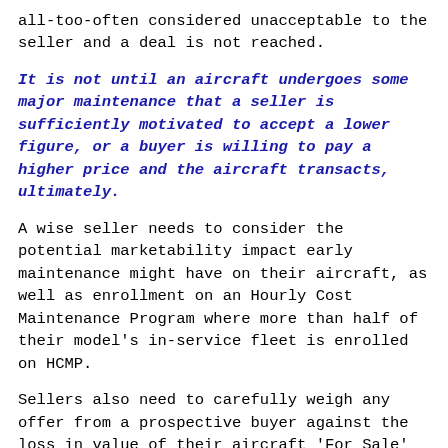all-too-often considered unacceptable to the seller and a deal is not reached.
It is not until an aircraft undergoes some major maintenance that a seller is sufficiently motivated to accept a lower figure, or a buyer is willing to pay a higher price and the aircraft transacts, ultimately.
A wise seller needs to consider the potential marketability impact early maintenance might have on their aircraft, as well as enrollment on an Hourly Cost Maintenance Program where more than half of their model’s in-service fleet is enrolled on HCMP.
Sellers also need to carefully weigh any offer from a prospective buyer against the loss in value of their aircraft ‘For Sale’ as the asset spends more days on the market awaiting a better offer while simultaneously accruing a higher maintenance figure.
More information from www.assetinsight.com